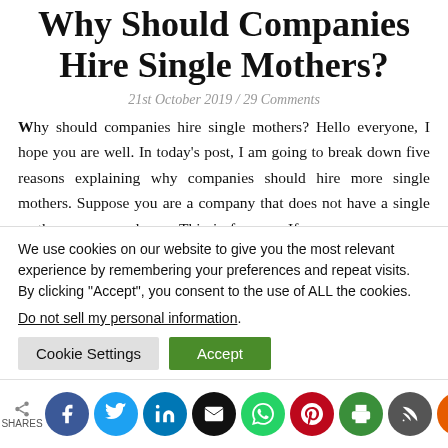Why Should Companies Hire Single Mothers?
21st October 2019 / 29 Comments
Why should companies hire single mothers? Hello everyone, I hope you are well. In today's post, I am going to break down five reasons explaining why companies should hire more single mothers. Suppose you are a company that does not have a single mother as an employee. This is for you. If you are a company looking to
We use cookies on our website to give you the most relevant experience by remembering your preferences and repeat visits. By clicking “Accept”, you consent to the use of ALL the cookies.
Do not sell my personal information.
Cookie Settings | Accept
SHARES [social share icons: Facebook, Twitter, LinkedIn, Email, WhatsApp, Pinterest, Print, RSS, More]